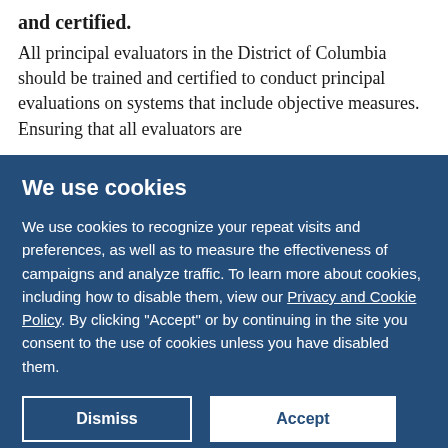Require all principal evaluators to be both trained and certified.
All principal evaluators in the District of Columbia should be trained and certified to conduct principal evaluations on systems that include objective measures. Ensuring that all evaluators are appropriately trained and certified in evaluation…
We use cookies
We use cookies to recognize your repeat visits and preferences, as well as to measure the effectiveness of campaigns and analyze traffic. To learn more about cookies, including how to disable them, view our Privacy and Cookie Policy. By clicking "Accept" or by continuing in the site you consent to the use of cookies unless you have disabled them.